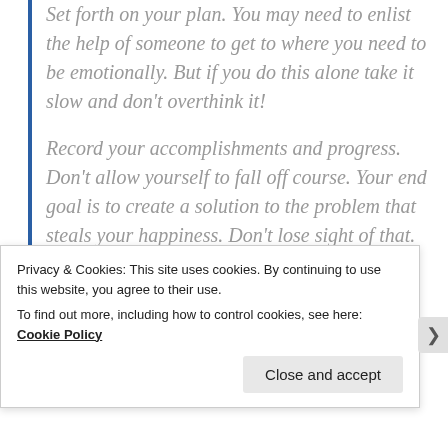Set forth on your plan. You may need to enlist the help of someone to get to where you need to be emotionally. But if you do this alone take it slow and don't overthink it!
Record your accomplishments and progress. Don't allow yourself to fall off course. Your end goal is to create a solution to the problem that steals your happiness. Don't lose sight of that.
Embrace the opportunity to be happy.
Privacy & Cookies: This site uses cookies. By continuing to use this website, you agree to their use.
To find out more, including how to control cookies, see here: Cookie Policy